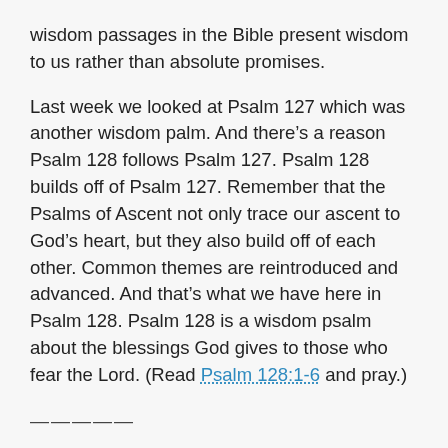wisdom passages in the Bible present wisdom to us rather than absolute promises.
Last week we looked at Psalm 127 which was another wisdom palm. And there’s a reason Psalm 128 follows Psalm 127. Psalm 128 builds off of Psalm 127. Remember that the Psalms of Ascent not only trace our ascent to God’s heart, but they also build off of each other. Common themes are reintroduced and advanced. And that’s what we have here in Psalm 128. Psalm 128 is a wisdom psalm about the blessings God gives to those who fear the Lord. (Read Psalm 128:1-6 and pray.)
—————
Everyone wants to be happy. Few people are willing to follow God’s way to get there. The world thinks being